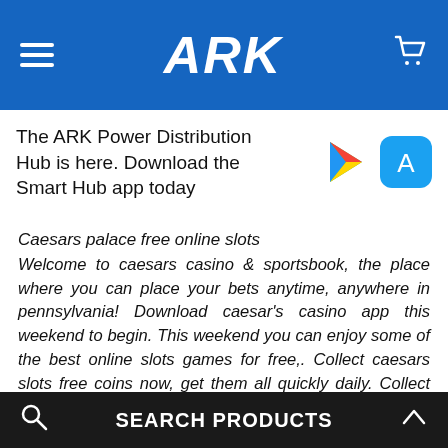ARK
The ARK Power Distribution Hub is here. Download the Smart Hub app today
Caesars palace free online slots
Welcome to caesars casino & sportsbook, the place where you can place your bets anytime, anywhere in pennsylvania! Download caesar's casino app this weekend to begin. This weekend you can enjoy some of the best online slots games for free,. Collect caesars slots free coins now, get them all quickly daily. Collect free caesars slots coins with no hassle just click and go. Шагов: 6 · 15 мин · материалы: na, na1. Download and install bluestacks on your pc2. Complete google sign-in to access the play store, or do it later3. Look for
SEARCH PRODUCTS